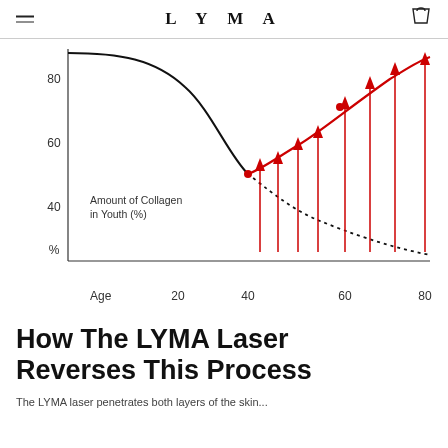LYMA
[Figure (continuous-plot): Line chart showing Amount of Collagen in Youth (%) vs Age. A black curve starts high (~85%) at age ~15 and declines. A dotted black curve continues declining toward age 80 (~25%). A red curve shows LYMA laser treatment reversing collagen loss starting from age ~40 (trough ~68%) back up to ~85% by age 80. Red arrows at ages ~42, 48, 53, 58, 63, 68, 73, 80 show the uplift from the dotted baseline to the red curve. Y-axis labels: 40, 60, 80, %. X-axis labels: Age, 20, 40, 60, 80.]
How The LYMA Laser Reverses This Process
The LYMA laser penetrates both layers of the skin...